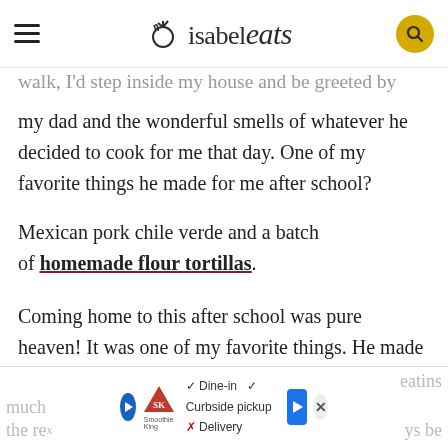isabel eats
walk, I'd step inside my house and be greeted by my dad and the wonderful smells of whatever he decided to cook for me that day. One of my favorite things he made for me after school?
Mexican pork chile verde and a batch of homemade flour tortillas.
Coming home to this after school was pure heaven! It was one of my favorite things. He made it spicy, but not too spicy and perfectly salty and savory every single time. I loved it so much
the re...ys be